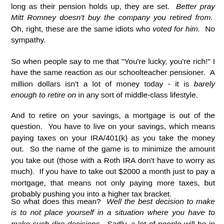long as their pension holds up, they are set.  Better pray Mitt Romney doesn't buy the company you retired from.  Oh, right, these are the same idiots who voted for him.  No sympathy.
So when people say to me that "You're lucky, you're rich!" I have the same reaction as our schoolteacher pensioner.  A million dollars isn't a lot of money today - it is barely enough to retire on in any sort of middle-class lifestyle.
And to retire on your savings, a mortgage is out of the question.  You have to live on your savings, which means paying taxes on your IRA/401(k) as you take the money out.  So the name of the game is to minimize the amount you take out (those with a Roth IRA don't have to worry as much).  If you have to take out $2000 a month just to pay a mortgage, that means not only paying more taxes, but probably pushing you into a higher tax bracket.
So what does this mean?  Well the best decision to make is to not place yourself in a situation where you have to make such dire decisions.  Sadly, a lot of people will be in these